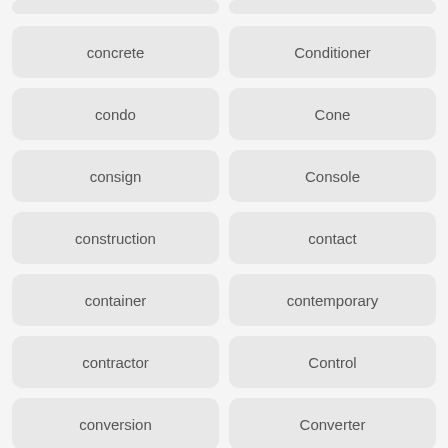concrete
Conditioner
condo
Cone
consign
Console
construction
contact
container
contemporary
contractor
Control
conversion
Converter
cookbooks
Cooker
Cookie
cooktop